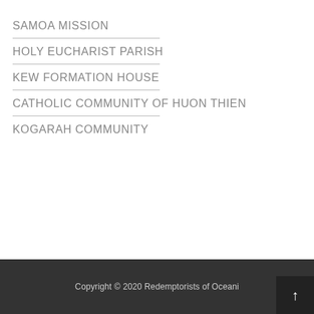SAMOA MISSION
HOLY EUCHARIST PARISH
KEW FORMATION HOUSE
CATHOLIC COMMUNITY OF HUON THIEN
KOGARAH COMMUNITY
Copyright © 2020 Redemptorists of Oceani